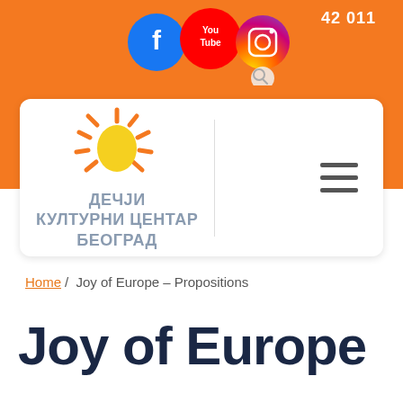[Figure (screenshot): Website header with orange background, social media icons (Facebook, YouTube, Instagram), phone number partial '...42 011', a white navigation card with sun logo, Cyrillic text 'ДЕЧЈИ КУЛТУРНИ ЦЕНТАР БЕОГРАД', a vertical divider, and hamburger menu icon]
Home / Joy of Europe – Propositions
Joy of Europe